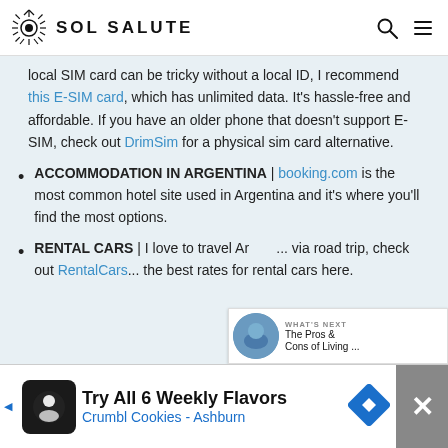SOL SALUTE
local SIM card can be tricky without a local ID, I recommend this E-SIM card, which has unlimited data. It's hassle-free and affordable. If you have an older phone that doesn't support E-SIM, check out DrimSim for a physical sim card alternative.
ACCOMMODATION IN ARGENTINA | booking.com is the most common hotel site used in Argentina and it's where you'll find the most options.
RENTAL CARS | I love to travel Argentina via road trip, check out RentalCars for the best rates for rental cars here.
[Figure (screenshot): What's Next overlay showing a thumbnail and title 'The Pros & Cons of Living...']
Try All 6 Weekly Flavors Crumbl Cookies - Ashburn